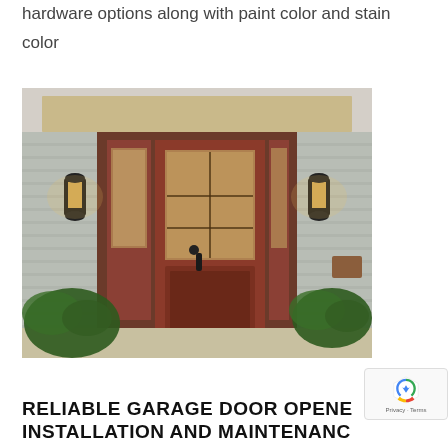hardware options along with paint color and stain color choices.
[Figure (photo): Red front door with decorative glass panels and sidelights, flanked by two black wall lanterns, green plants on both sides, white clapboard siding exterior of a home.]
RELIABLE GARAGE DOOR OPENER INSTALLATION AND MAINTENANCE